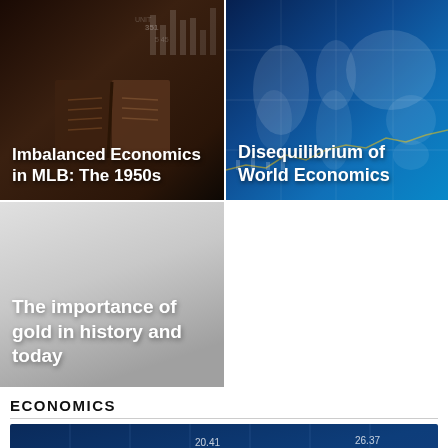[Figure (photo): Dark-toned photo of an open book with financial charts/data in the background. Article thumbnail for 'Imbalanced Economics in MLB: The 1950s']
Imbalanced Economics in MLB: The 1950s
[Figure (photo): Blue-toned world map with financial/economic graphics overlay. Article thumbnail for 'Disequilibrium of World Economics']
Disequilibrium of World Economics
[Figure (photo): Light gray gradient background. Article thumbnail for 'The importance of gold in history and today']
The importance of gold in history and today
ECONOMICS
[Figure (photo): Blue-toned financial stock market chart with candlestick patterns and numbers: 19.22, 20.41, 26.37, 42.10, 51.16, 72.22 overlaid on a dark blue background with white dashed curve lines]